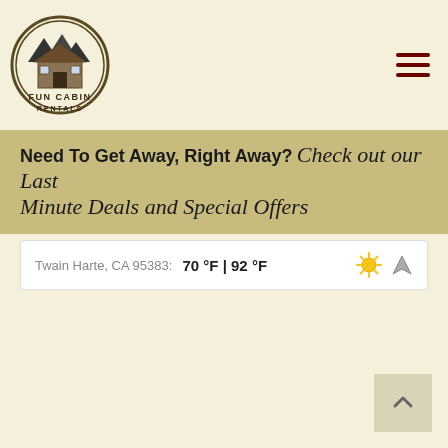[Figure (logo): Fun Cabin Rentals logo — circular emblem with cabin/house illustration and text 'FUN CABIN RENTALS']
[Figure (other): Hamburger menu icon — three horizontal dark red lines]
Need To Get Away, Right Away? Check out our Last Minute Deals and Special Offers
Twain Harte, CA 95383: 70 °F | 92 °F
[Figure (other): Sun icon and navigation/location arrow icon in weather bar]
[Figure (other): Back to top button — light tan square with upward chevron arrow]